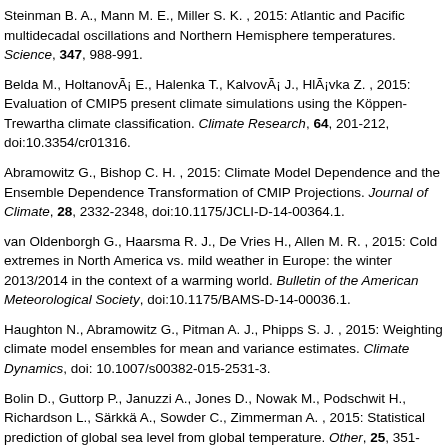Steinman B. A., Mann M. E., Miller S. K. , 2015: Atlantic and Pacific multidecadal oscillations and Northern Hemisphere temperatures. Science, 347, 988-991.
Belda M., Holtanová E., Halenka T., Kalvová J., Hlávka Z. , 2015: Evaluation of CMIP5 present climate simulations using the Köppen-Trewartha climate classification. Climate Research, 64, 201-212, doi:10.3354/cr01316.
Abramowitz G., Bishop C. H. , 2015: Climate Model Dependence and the Ensemble Dependence Transformation of CMIP Projections. Journal of Climate, 28, 2332-2348, doi:10.1175/JCLI-D-14-00364.1.
van Oldenborgh G., Haarsma R. J., De Vries H., Allen M. R. , 2015: Cold extremes in North America vs. mild weather in Europe: the winter 2013/2014 in the context of a warming world. Bulletin of the American Meteorological Society, doi:10.1175/BAMS-D-14-00036.1.
Haughton N., Abramowitz G., Pitman A. J., Phipps S. J. , 2015: Weighting climate model ensembles for mean and variance estimates. Climate Dynamics, doi: 10.1007/s00382-015-2531-3.
Bolin D., Guttorp P., Januzzi A., Jones D., Nowak M., Podschwit H., Richardson L., Särkkä A., Sowder C., Zimmerman A. , 2015: Statistical prediction of global sea level from global temperature. Other, 25, 351-357, doi:10.5705/ss.2013.229w.